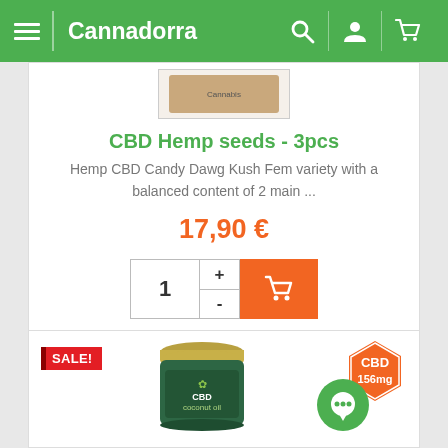Cannadorra
[Figure (screenshot): Partial product image at top of card, partially cropped]
CBD Hemp seeds - 3pcs
Hemp CBD Candy Dawg Kush Fem variety with a balanced content of 2 main ...
17,90 €
[Figure (other): Quantity selector with +/- buttons and orange add-to-cart button with shopping cart icon]
[Figure (other): SALE! badge (red), CBD 156mg hexagon badge (orange), CBD coconut oil jar product image, green chat bubble icon]